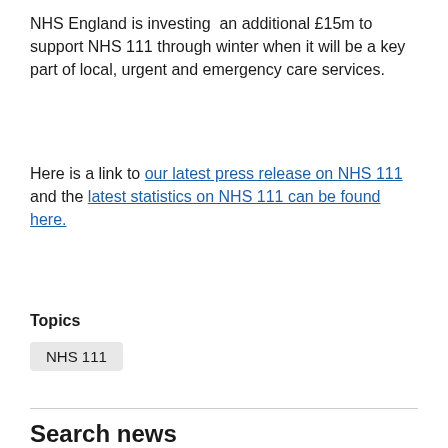NHS England is investing  an additional £15m to support NHS 111 through winter when it will be a key part of local, urgent and emergency care services.
Here is a link to our latest press release on NHS 111 and the latest statistics on NHS 111 can be found here.
Topics
NHS 111
Search news
You can use the filters to show only news items that match your interests